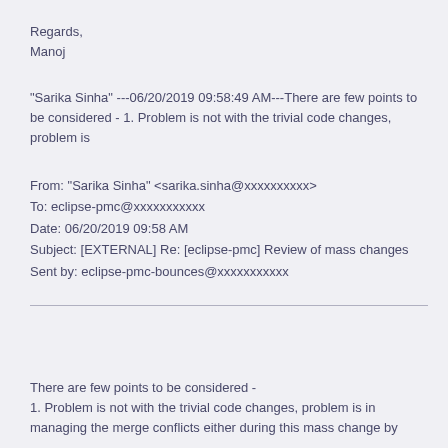Regards,
Manoj
"Sarika Sinha" ---06/20/2019 09:58:49 AM---There are few points to be considered - 1. Problem is not with the trivial code changes, problem is
From: "Sarika Sinha" <sarika.sinha@xxxxxxxxxx>
To: eclipse-pmc@xxxxxxxxxxx
Date: 06/20/2019 09:58 AM
Subject: [EXTERNAL] Re: [eclipse-pmc] Review of mass changes
Sent by: eclipse-pmc-bounces@xxxxxxxxxxx
There are few points to be considered -
1. Problem is not with the trivial code changes, problem is in
managing the merge conflicts either during this mass change by